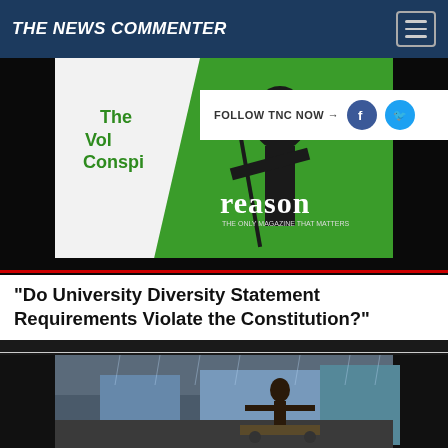THE NEWS COMMENTER
[Figure (screenshot): Reason magazine cover showing Lady Justice statue with sword on green/white background, with text 'The Vol Conspi' and 'reason' watermark]
[Figure (infographic): Follow TNC Now overlay with Facebook and Twitter social media icons]
"Do University Diversity Statement Requirements Violate the Constitution?"
[Figure (photo): Outdoor scene in rain showing a person with arms outstretched standing on a cart in wet street conditions]